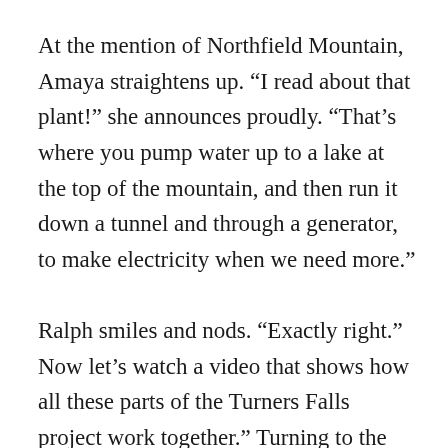At the mention of Northfield Mountain, Amaya straightens up. “I read about that plant!” she announces proudly. “That’s where you pump water up to a lake at the top of the mountain, and then run it down a tunnel and through a generator, to make electricity when we need more.”
Ralph smiles and nods. “Exactly right.” Now let’s watch a video that shows how all these parts of the Turners Falls project work together.” Turning to the